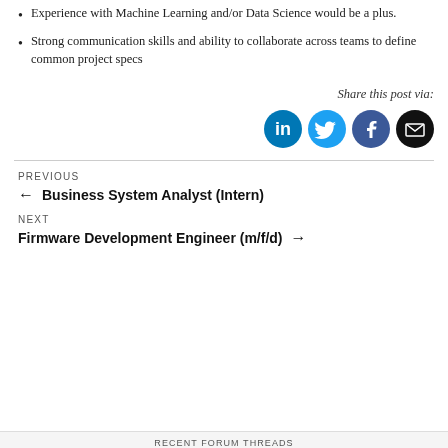Experience with Machine Learning and/or Data Science would be a plus.
Strong communication skills and ability to collaborate across teams to define common project specs
[Figure (illustration): Share this post via: icons for LinkedIn (blue circle with 'in'), Twitter (cyan circle with bird), Facebook (dark blue circle with 'f'), and Email (black circle with envelope)]
PREVIOUS
← Business System Analyst (Intern)
NEXT
Firmware Development Engineer (m/f/d) →
RECENT FORUM THREADS